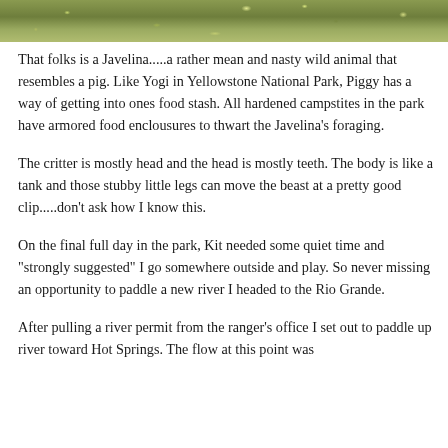[Figure (photo): Partial photo strip at top of page showing green grass/vegetation, appears to be an outdoor nature scene]
That folks is a Javelina.....a rather mean and nasty wild animal that resembles a pig.  Like Yogi in Yellowstone National Park, Piggy has a way of getting into ones food stash.  All hardened campstites in the park have armored food enclousures to thwart the Javelina’s foraging.
The critter is mostly head and the head is mostly teeth.  The body is like a tank and those stubby little legs can move the beast at a pretty good clip.....don’t ask how I know this.
On the final full day in the park, Kit needed some quiet time and “strongly suggested” I go somewhere outside and play.  So never missing an opportunity to paddle a new river I headed to the Rio Grande.
After pulling a river permit from the ranger’s office I set out to paddle up river toward Hot Springs.  The flow at this point was